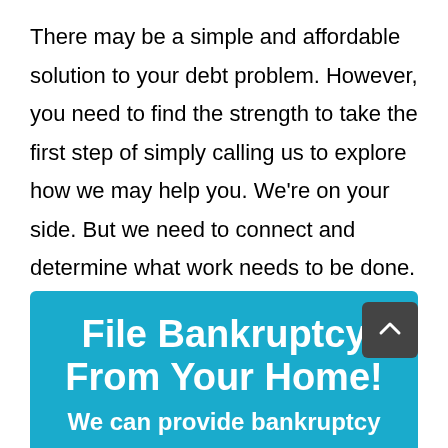There may be a simple and affordable solution to your debt problem. However, you need to find the strength to take the first step of simply calling us to explore how we may help you. We’re on your side.  But we need to connect and determine what work needs to be done.
[Figure (infographic): Blue banner with white bold text reading 'File Bankruptcy From Your Home!' and subtext 'We can provide bankruptcy']